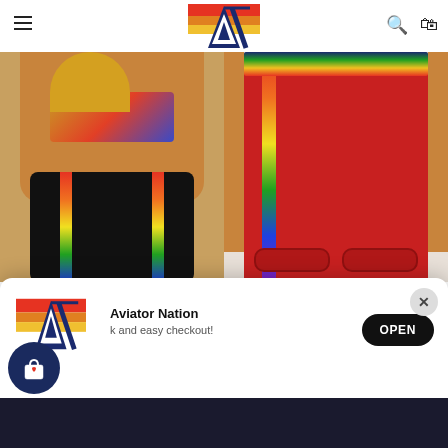[Figure (screenshot): E-commerce website header with Aviator Nation logo, hamburger menu, search and bag icons]
[Figure (photo): Women's 5 Stripe Nylon Jogger Short in Black with rainbow stripes, modeled]
WOMENS' 5 STRIPE NYLON JOGGER SHORT - BLACK
$ 168.00 AUD
[Figure (photo): Women's 5 Stripe Nylon Jogger Short in Cherry red with rainbow stripes, modeled]
WOMENS' 5 STRIPE NYLON JOGGER SHORT - CHERRY
$ 168.00 AUD
[Figure (screenshot): App install banner: Aviator Nation logo with shopping bag icon, text 'Aviator Nation - quick and easy checkout!', OPEN button and X close button]